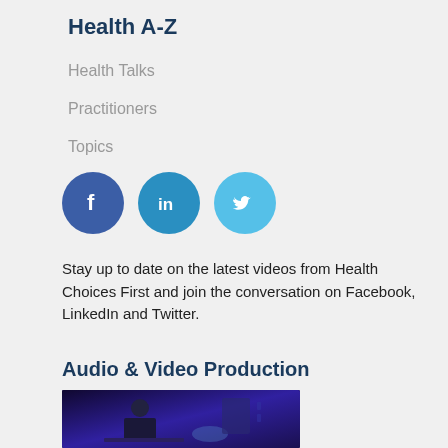Health A-Z
Health Talks
Practitioners
Topics
[Figure (infographic): Three social media icon circles: Facebook (dark blue), LinkedIn (medium blue), Twitter (light blue)]
Stay up to date on the latest videos from Health Choices First and join the conversation on Facebook, LinkedIn and Twitter.
Audio & Video Production
[Figure (photo): A man in dark clothing sitting at a desk in a room with purple/blue lighting, looking at a laptop or tablet. Medical or professional setting.]
[Figure (logo): Health Choices First logo: white figure in motion on dark navy circular background with light grey border. Close button (x) in top right.]